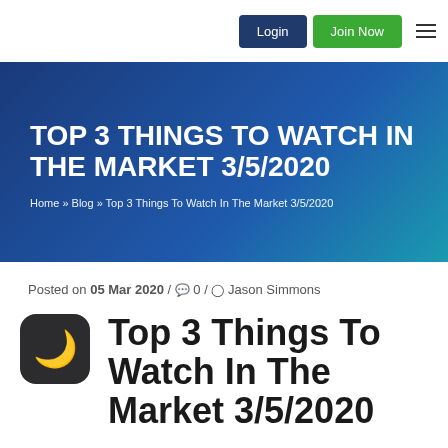Login | Join Now
TOP 3 THINGS TO WATCH IN THE MARKET 3/5/2020
Home » Blog » Top 3 Things To Watch In The Market 3/5/2020
Posted on 05 Mar 2020 / 0 / Jason Simmons
Top 3 Things To Watch In The Market 3/5/2020